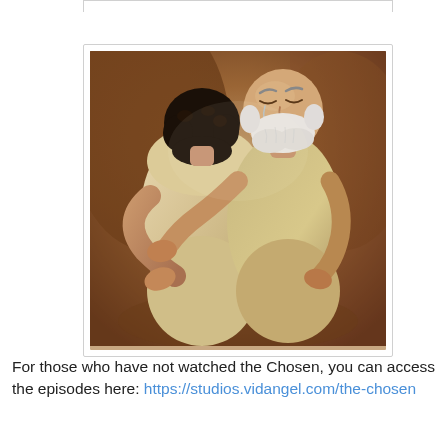[Figure (photo): Two people sharing a warm embrace — one with dark curly hair wearing a cream/beige robe with back to camera, the other an older bald man with white beard and emotional expression, wearing earth-toned clothing, set against a rocky reddish-brown background. Scene from 'The Chosen' TV series.]
For those who have not watched the Chosen, you can access the episodes here: https://studios.vidangel.com/the-chosen